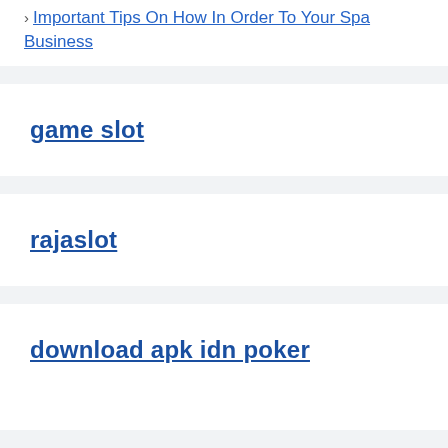Important Tips On How In Order To Your Spa Business
game slot
rajaslot
download apk idn poker